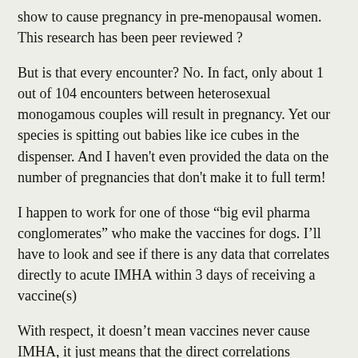show to cause pregnancy in pre-menopausal women. This research has been peer reviewed ?
But is that every encounter? No. In fact, only about 1 out of 104 encounters between heterosexual monogamous couples will result in pregnancy. Yet our species is spitting out babies like ice cubes in the dispenser. And I haven't even provided the data on the number of pregnancies that don't make it to full term!
I happen to work for one of those “big evil pharma conglomerates” who make the vaccines for dogs. I’ll have to look and see if there is any data that correlates directly to acute IMHA within 3 days of receiving a vaccine(s)
With respect, it doesn’t mean vaccines never cause IMHA, it just means that the direct correlations between vaccinations and IMHA are so low that the risk of not vaccinating outweighs the risk of vaccinating.
Also, I must add, I agree with those findings. Even though I believe I experienced the small